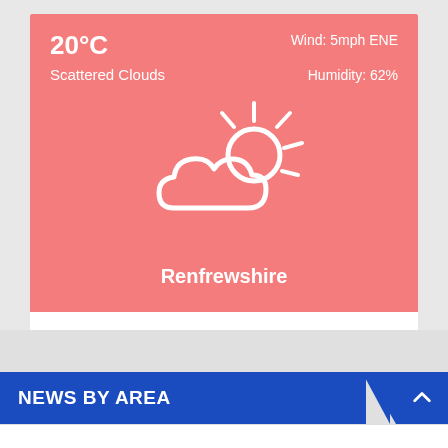[Figure (infographic): Weather widget showing 20°C temperature, Scattered Clouds, Wind: 5mph ENE, Humidity: 62%, with a sun-behind-clouds icon, location Renfrewshire, on a salmon/coral pink background]
Weather Widget by interconnect/it
NEWS BY AREA